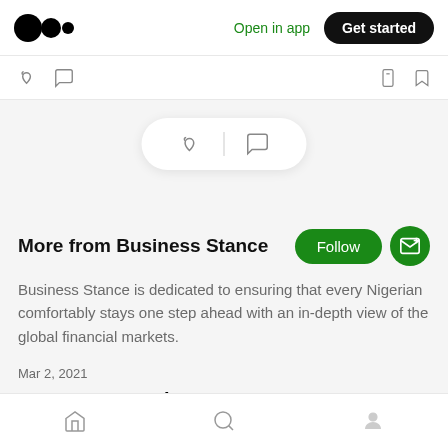Open in app | Get started
[Figure (screenshot): Medium app interface top navigation bar with logo, 'Open in app' link in green, and black 'Get started' button]
[Figure (screenshot): Icon bar with clap and comment icons on left, bookmark and save icons on right]
[Figure (illustration): White pill-shaped widget with clap hand icon and comment bubble icon separated by a vertical divider]
More from Business Stance
Business Stance is dedicated to ensuring that every Nigerian comfortably stays one step ahead with an in-depth view of the global financial markets.
Mar 2, 2021
Dangote's Earnings Report: Dangote Sugar recorded a 33% surge in its yearly revenue
Home | Search | Profile